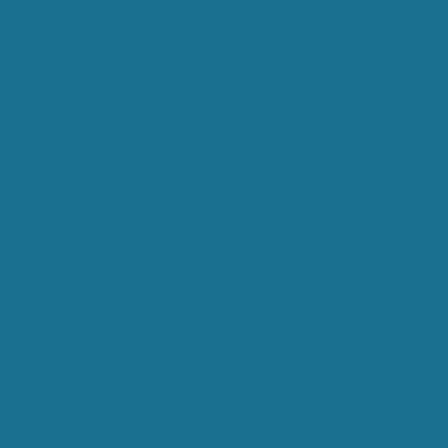EIGHTEENTH CENTURY MUSIC FOR TWO KEYBOARD INSTRUMENTS (Bernard Brauchli)
FERDINAND, LOUIS: Andante with Variations, 4... (Tr Parnassus)
FERDINAND, LOUIS: Piano Trio in Ab, op. 2. Grosses... (Tr Parnassus)
FERDINAND, LOUIS: T in Eb, op. 3... (Tr Parnassus)
FERDINAND, LOUIS: Trios for Piano, Violin, and Cello (Göbel-Tr Berlin)
FERRER, JOSÉ: 12 Keyboard Sonatas (Almudena Cano)
FOR CHILDREN (Lívia Rév)
GIUSTINI, LUDOVICO: Sonatas for Pianoforte, V 2 (Mieczyslaw Horszowsk...)